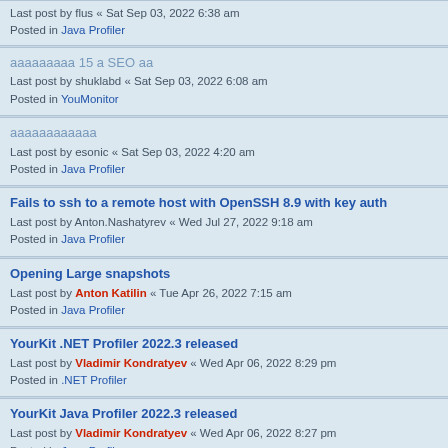Last post by flus « Sat Sep 03, 2022 6:38 am
Posted in Java Profiler
ааааааааа 15 а SEO аа
Last post by shuklabd « Sat Sep 03, 2022 6:08 am
Posted in YouMonitor
аааааааааааа
Last post by esonic « Sat Sep 03, 2022 4:20 am
Posted in Java Profiler
Fails to ssh to a remote host with OpenSSH 8.9 with key auth
Last post by Anton.Nashatyrev « Wed Jul 27, 2022 9:18 am
Posted in Java Profiler
Opening Large snapshots
Last post by Anton Katilin « Tue Apr 26, 2022 7:15 am
Posted in Java Profiler
YourKit .NET Profiler 2022.3 released
Last post by Vladimir Kondratyev « Wed Apr 06, 2022 8:29 pm
Posted in .NET Profiler
YourKit Java Profiler 2022.3 released
Last post by Vladimir Kondratyev « Wed Apr 06, 2022 8:27 pm
Posted in Java Profiler
Can DLLs also be profiled?
Last post by Anton Katilin « Fri Mar 25, 2022 8:13 am
Posted in .NET Profiler
0-day vulnerability in Apache Log4j CVE-2021-44228
Last post by Vladimir Kondratyev « Tue Dec 14, 2021 10:55 am
Posted in YouMonitor